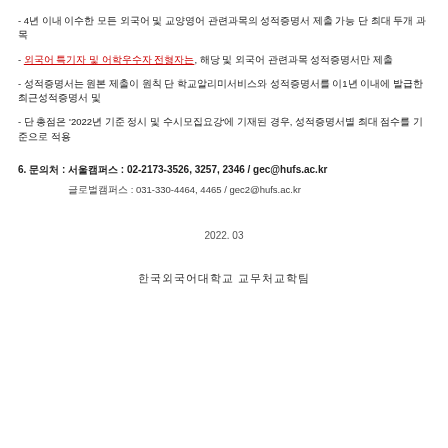- 4년 이내 이수한 모든 외국어 및 교양영어 관련과목의 성적증명서 제출 가능 단 최대 두개 과목
- 외국어 특기자 및 어학우수자 전형자는, 해당 및 외국어 관련과목 성적증명서만 제출
- 성적증명서는 원본 제출이 원칙 단 학교알리미서비스와 성적증명서를 이1년 이내에 발급한 최근성적증명서 및
- 단 총점은 '2022년 기준 정시 및 수시모집요강'에 기재된 경우, 성적증명서별 최대 점수를 기준으로 적용
6. 문의처 : 서울캠퍼스 : 02-2173-3526, 3257, 2346 / gec@hufs.ac.kr
글로벌캠퍼스 : 031-330-4464, 4465 / gec2@hufs.ac.kr
2022. 03
한국외국어대학교 교무처교학팀